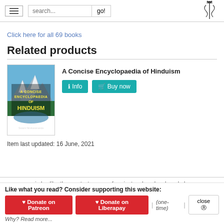search... go!
Click here for all 69 books
Related products
[Figure (illustration): Book cover of A Concise Encyclopaedia of Hinduism showing mountain landscape with text]
A Concise Encyclopaedia of Hinduism
Info  Buy now
Item last updated: 16 June, 2021
wisdomlib - the greatest source of ancient and modern knowledge;
Like what you read? Consider supporting this website:
Donate on Patreon  Donate on Liberapay  (one-time)  close
Why? Read more...